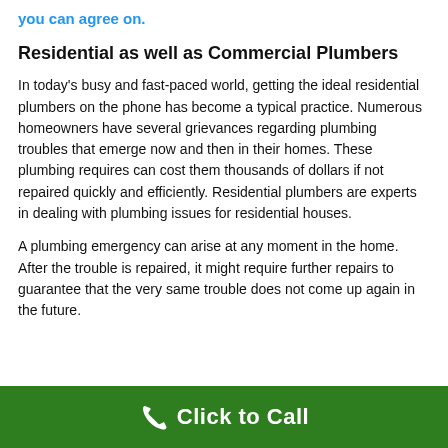you can agree on.
Residential as well as Commercial Plumbers
In today's busy and fast-paced world, getting the ideal residential plumbers on the phone has become a typical practice. Numerous homeowners have several grievances regarding plumbing troubles that emerge now and then in their homes. These plumbing requires can cost them thousands of dollars if not repaired quickly and efficiently. Residential plumbers are experts in dealing with plumbing issues for residential houses.
A plumbing emergency can arise at any moment in the home. After the trouble is repaired, it might require further repairs to guarantee that the very same trouble does not come up again in the future.
Click to Call